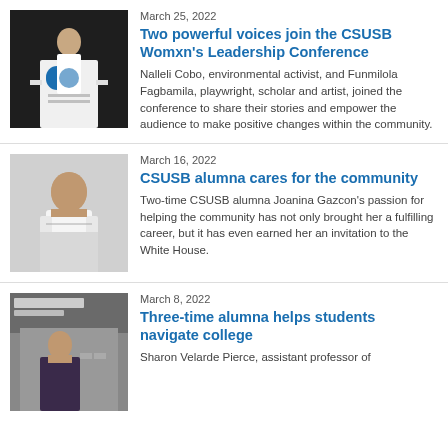[Figure (photo): Woman in white dress speaking at a podium with CSUSB logo]
March 25, 2022
Two powerful voices join the CSUSB Womxn's Leadership Conference
Nalleli Cobo, environmental activist, and Funmilola Fagbamila, playwright, scholar and artist, joined the conference to share their stories and empower the audience to make positive changes within the community.
[Figure (photo): Smiling woman with dark hair in white shirt]
March 16, 2022
CSUSB alumna cares for the community
Two-time CSUSB alumna Joanina Gazcon's passion for helping the community has not only brought her a fulfilling career, but it has even earned her an invitation to the White House.
[Figure (photo): Woman standing outside Jack H. Brown College building]
March 8, 2022
Three-time alumna helps students navigate college
Sharon Velarde Pierce, assistant professor of